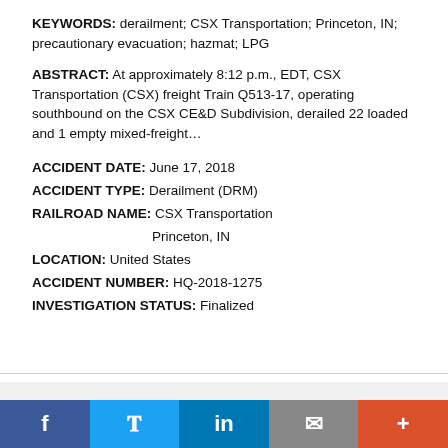KEYWORDS: derailment; CSX Transportation; Princeton, IN; precautionary evacuation; hazmat; LPG
ABSTRACT: At approximately 8:12 p.m., EDT, CSX Transportation (CSX) freight Train Q513-17, operating southbound on the CSX CE&D Subdivision, derailed 22 loaded and 1 empty mixed-freight…
ACCIDENT DATE: June 17, 2018
ACCIDENT TYPE: Derailment (DRM)
RAILROAD NAME: CSX Transportation
Princeton, IN
LOCATION: United States
ACCIDENT NUMBER: HQ-2018-1275
INVESTIGATION STATUS: Finalized
2 May 2018